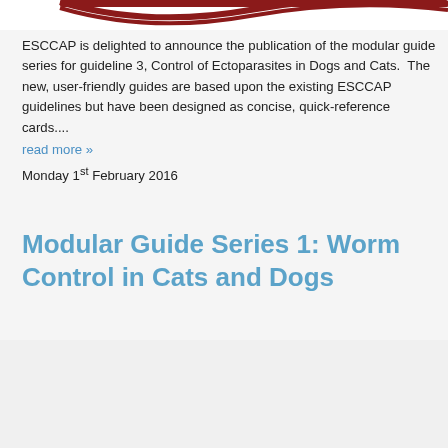[Figure (illustration): Partial decorative image or banner at the top of the page, showing dark red/maroon curved shapes on a white background.]
ESCCAP is delighted to announce the publication of the modular guide series for guideline 3, Control of Ectoparasites in Dogs and Cats.  The new, user-friendly guides are based upon the existing ESCCAP guidelines but have been designed as concise, quick-reference cards....
read more »
Monday 1st February 2016
Modular Guide Series 1: Worm Control in Cats and Dogs